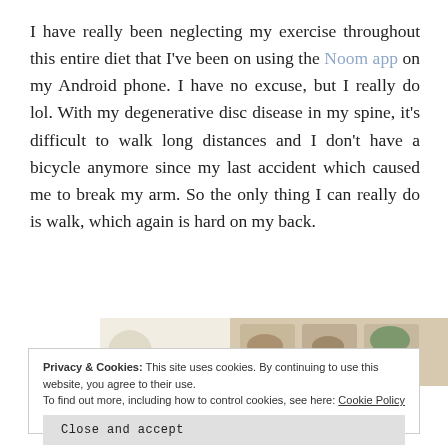I have really been neglecting my exercise throughout this entire diet that I've been on using the Noom app on my Android phone. I have no excuse, but I really do lol. With my degenerative disc disease in my spine, it's difficult to walk long distances and I don't have a bicycle anymore since my last accident which caused me to break my arm. So the only thing I can really do is walk, which again is hard on my back.
[Figure (photo): Partial image strip showing food photos on a light beige background]
Privacy & Cookies: This site uses cookies. By continuing to use this website, you agree to their use. To find out more, including how to control cookies, see here: Cookie Policy